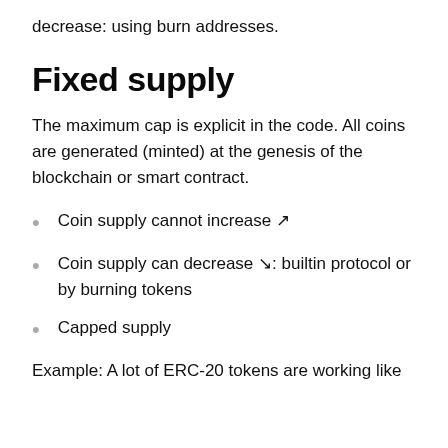decrease: using burn addresses.
Fixed supply
The maximum cap is explicit in the code. All coins are generated (minted) at the genesis of the blockchain or smart contract.
Coin supply cannot increase ↗
Coin supply can decrease ↘: builtin protocol or by burning tokens
Capped supply
Example: A lot of ERC-20 tokens are working like